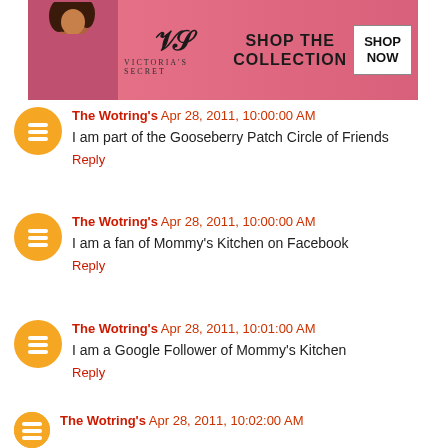[Figure (photo): Victoria's Secret advertisement banner with a model, VS logo, 'SHOP THE COLLECTION' text and 'SHOP NOW' button]
The Wotring's Apr 28, 2011, 10:00:00 AM
I am part of the Gooseberry Patch Circle of Friends
Reply
The Wotring's Apr 28, 2011, 10:00:00 AM
I am a fan of Mommy's Kitchen on Facebook
Reply
The Wotring's Apr 28, 2011, 10:01:00 AM
I am a Google Follower of Mommy's Kitchen
Reply
The Wotring's Apr 28, 2011, 10:02:00 AM